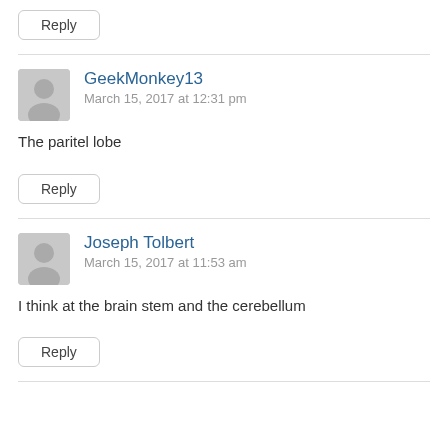Reply
GeekMonkey13
March 15, 2017 at 12:31 pm
The paritel lobe
Reply
Joseph Tolbert
March 15, 2017 at 11:53 am
I think at the brain stem and the cerebellum
Reply